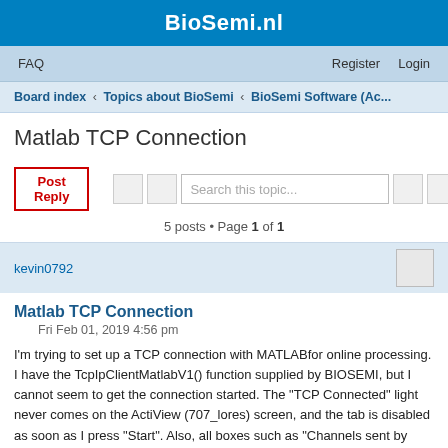BioSemi.nl
FAQ   Register   Login
Board index < Topics about BioSemi < BioSemi Software (Ac...
Matlab TCP Connection
5 posts • Page 1 of 1
kevin0792
Matlab TCP Connection
Fri Feb 01, 2019 4:56 pm
I'm trying to set up a TCP connection with MATLABfor online processing. I have the TcpIpClientMatlabV1() function supplied by BIOSEMI, but I cannot seem to get the connection started. The "TCP Connected" light never comes on the ActiView (707_lores) screen, and the tab is disabled as soon as I press "Start". Also, all boxes such as "Channels sent by TCP", and "TCP samples/channel" are blank and uneditable, so I don't know how to set them to the correct values in MATLAB. I'm trying to set up this connection on a single PC.